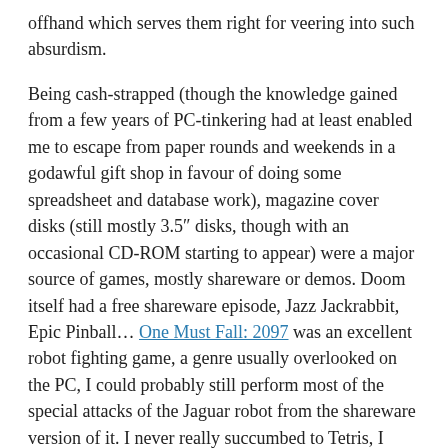offhand which serves them right for veering into such absurdism.
Being cash-strapped (though the knowledge gained from a few years of PC-tinkering had at least enabled me to escape from paper rounds and weekends in a godawful gift shop in favour of doing some spreadsheet and database work), magazine cover disks (still mostly 3.5″ disks, though with an occasional CD-ROM starting to appear) were a major source of games, mostly shareware or demos. Doom itself had a free shareware episode, Jazz Jackrabbit, Epic Pinball… One Must Fall: 2097 was an excellent robot fighting game, a genre usually overlooked on the PC, I could probably still perform most of the special attacks of the Jaguar robot from the shareware version of it. I never really succumbed to Tetris, I think I initially experienced it as a poor CGA knock-off that rather put me off, but I did spend an awfully long time on the block-shuffler Squarez.